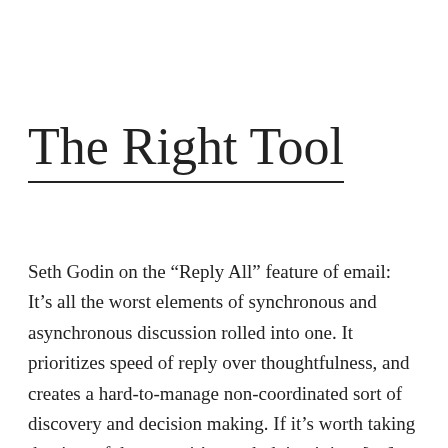The Right Tool
Seth Godin on the “Reply All” feature of email: It’s all the worst elements of synchronous and asynchronous discussion rolled into one. It prioritizes speed of reply over thoughtfulness, and creates a hard-to-manage non-coordinated sort of discovery and decision making. If it’s worth taking the time of the team, it’s worth doing it in a […]